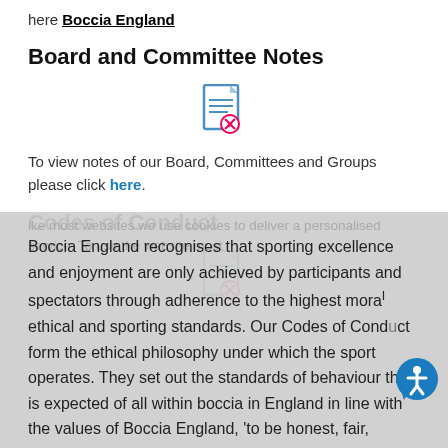here Boccia England
Board and Committee Notes
[Figure (illustration): Document icon with red ribbon/stamp]
To view notes of our Board, Committees and Groups please click here.
Codes of Conduct
[Figure (illustration): Document icon with red ribbon/stamp]
Boccia England recognises that sporting excellence and enjoyment are only achieved by participants and spectators through adherence to the highest moral ethical and sporting standards. Our Codes of Conduct form the ethical philosophy under which the sport operates. They set out the standards of behaviour that is expected of all within boccia in England in line with the values of Boccia England, 'to be honest, fair,